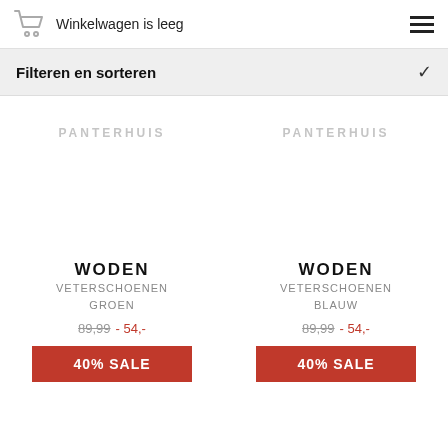Winkelwagen is leeg
Filteren en sorteren
[Figure (other): Product image placeholder with PANTERHUIS watermark - left card (Woden Veterschoenen Groen)]
WODEN
VETERSCHOENEN
GROEN
89,99 - 54,-
40% SALE
[Figure (other): Product image placeholder with PANTERHUIS watermark - right card (Woden Veterschoenen Blauw)]
WODEN
VETERSCHOENEN
BLAAUW
89,99 - 54,-
40% SALE